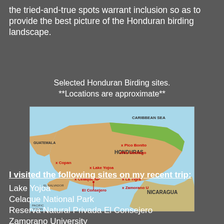the tried-and-true spots warrant inclusion so as to provide the best picture of the Honduran birding landscape.
Selected Honduran Birding sites.
**Locations are approximate**
[Figure (map): Map of Honduras showing selected birding sites marked with red X labels: Copan, Lake Yojoa, Celaque NP, La Tigra, Zamorano U, El Consejero, Pico Bonito, Rio Santiago. Surrounding countries and bodies of water labeled: Guatemala, El Salvador, Nicaragua, Caribbean Sea, Pacific Ocean.]
I visited the following sites on my recent trip:
Lake Yojoa
Celaque National Park
Reserva Natural Privada El Consejero
Zamorano University